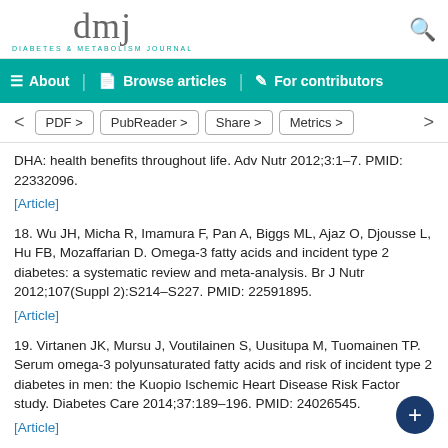[Figure (logo): Diabetes & Metabolism Journal (dmj) logo with teal subtitle text and search icon]
About | Browse articles | For contributors
< PDF > PubReader > Share > Metrics >  >
DHA: health benefits throughout life. Adv Nutr 2012;3:1–7. PMID: 22332096.
[Article]
18. Wu JH, Micha R, Imamura F, Pan A, Biggs ML, Ajaz O, Djousse L, Hu FB, Mozaffarian D. Omega-3 fatty acids and incident type 2 diabetes: a systematic review and meta-analysis. Br J Nutr 2012;107(Suppl 2):S214–S227. PMID: 22591895.
[Article]
19. Virtanen JK, Mursu J, Voutilainen S, Uusitupa M, Tuomainen TP. Serum omega-3 polyunsaturated fatty acids and risk of incident type 2 diabetes in men: the Kuopio Ischemic Heart Disease Risk Factor study. Diabetes Care 2014;37:189–196. PMID: 24026545.
[Article]